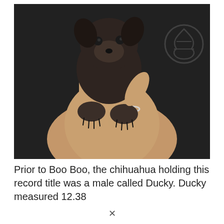[Figure (photo): A tiny Chihuahua puppy being held in a person's hand. The puppy is very small, dark brown/grey in color, with large eyes and small paws with black nails. The person is wearing a black shirt with a logo visible, and has a silver ring on one finger. The background is dark.]
Prior to Boo Boo, the chihuahua holding this record title was a male called Ducky. Ducky measured 12.38